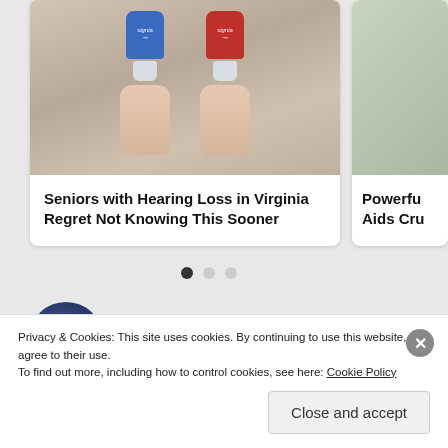[Figure (photo): Two small hearing aids (one blue, one red with Signia branding) held between fingers, shown as a carousel card. Partially visible second card shows another image.]
Seniors with Hearing Loss in Virginia Regret Not Knowing This Sooner
Powerfu Aids Cru
[Figure (illustration): Carousel navigation dots: one filled black (active), two grey (inactive)]
Almost Nobody Has
Privacy & Cookies: This site uses cookies. By continuing to use this website, you agree to their use.
To find out more, including how to control cookies, see here: Cookie Policy
Close and accept